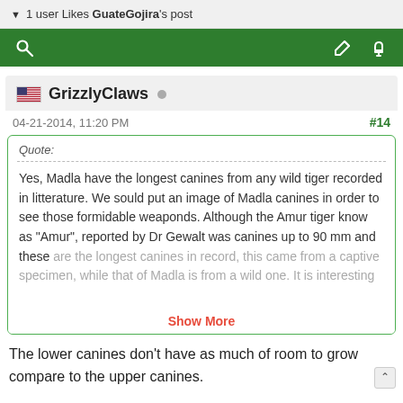1 user Likes GuateGojira's post
[Figure (screenshot): Green toolbar with search icon on left and thumbs-up and pencil icons on right]
GrizzlyClaws
04-21-2014, 11:20 PM  #14
Quote: Yes, Madla have the longest canines from any wild tiger recorded in litterature. We sould put an image of Madla canines in order to see those formidable weaponds. Although the Amur tiger know as "Amur", reported by Dr Gewalt was canines up to 90 mm and these are the longest canines in record, this came from a captive specimen, while that of Madla is from a wild one. It is interesting  Show More
The lower canines don't have as much of room to grow compare to the upper canines.